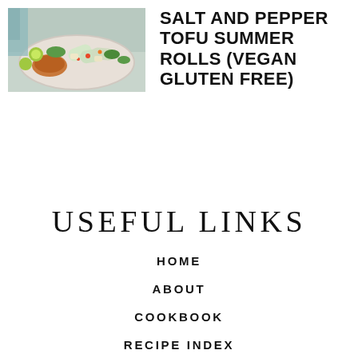[Figure (photo): Photo of summer rolls with dipping sauce, vegetables, and lime on a plate]
SALT AND PEPPER TOFU SUMMER ROLLS (VEGAN GLUTEN FREE)
USEFUL LINKS
HOME
ABOUT
COOKBOOK
RECIPE INDEX